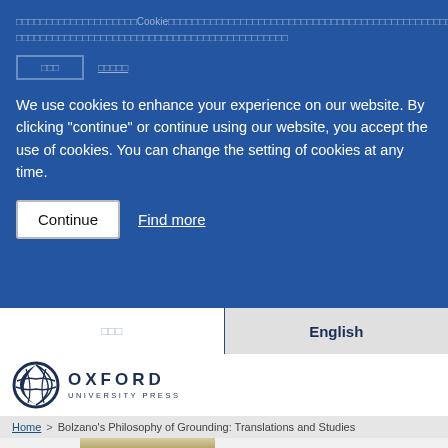□□□□□□□□□□□□□□□□□□□□Cookie□□□□□□□□□□□□□□□□□□□□□□□□□□□□□□□□□□□□□□□□□□□□□□□□□□□□□□□□□□□□□□□□□□□□□□□□
We use cookies to enhance your experience on our website. By clicking "continue" or continue using our website, you accept the use of cookies. You can change the setting of cookies at any time.
Continue    Find more
日本語    English
[Figure (logo): Oxford University Press logo with circular emblem]
Home > Bolzano's Philosophy of Grounding: Translations and Studies
[Figure (photo): Partial view of book cover at bottom]